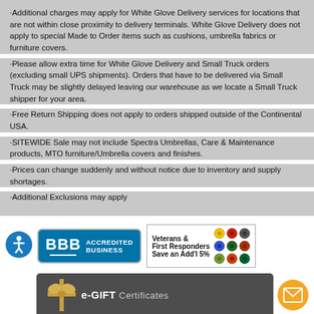·Additional charges may apply for White Glove Delivery services for locations that are not within close proximity to delivery terminals. White Glove Delivery does not apply to special Made to Order items such as cushions, umbrella fabrics or furniture covers.
·Please allow extra time for White Glove Delivery and Small Truck orders (excluding small UPS shipments). Orders that have to be delivered via Small Truck may be slightly delayed leaving our warehouse as we locate a Small Truck shipper for your area.
·Free Return Shipping does not apply to orders shipped outside of the Continental USA.
·SITEWIDE Sale may not include Spectra Umbrellas, Care & Maintenance products, MTO furniture/Umbrella covers and finishes.
·Prices can change suddenly and without notice due to inventory and supply shortages.
·Additional Exclusions may apply
[Figure (logo): Accessibility icon - blue circle with person figure]
[Figure (logo): BBB Accredited Business badge - teal/blue with BBB logo]
[Figure (infographic): Veterans & First Responders Save an Add'l 5% badge with military/service icons]
[Figure (infographic): e-GIFT Certificates dark banner with ribbon bow graphic]
[Figure (logo): Orange circle mail/contact icon]